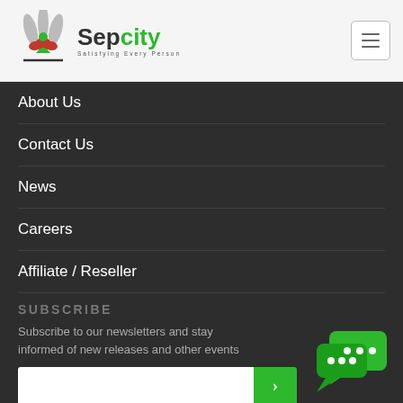[Figure (logo): Sepcity logo with stylized hands and figure icon, green 'Sepcity' brand name, tagline 'Satisfying Every Person']
[Figure (illustration): Hamburger menu button (three horizontal lines) in a rounded rectangle border]
About Us
Contact Us
News
Careers
Affiliate / Reseller
SUBSCRIBE
Subscribe to our newsletters and stay informed of new releases and other events
[Figure (illustration): Green chat bubble icon with ellipsis dots, overlapping double speech bubbles]
[Figure (illustration): Email subscription input box with green arrow submit button]